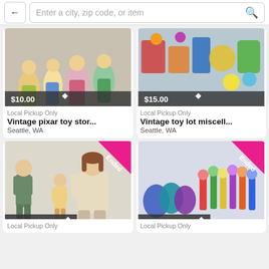[Figure (screenshot): Mobile app search bar with back arrow button and search field placeholder 'Enter a city, zip code, or item' with magnifying glass icon]
[Figure (photo): Vintage Pixar toy story figures photo with price badge $10.00]
[Figure (photo): Vintage miscellaneous toy lot photo with price badge $15.00]
Local Pickup Only
Vintage pixar toy stor...
Seattle, WA
Local Pickup Only
Vintage toy lot miscell...
Seattle, WA
[Figure (photo): Vintage dolls photo with Ended ribbon and price badge $15.00]
[Figure (photo): Vintage Pez dispensers and toy items with Ended ribbon and price badge $10.00]
Local Pickup Only
Local Pickup Only